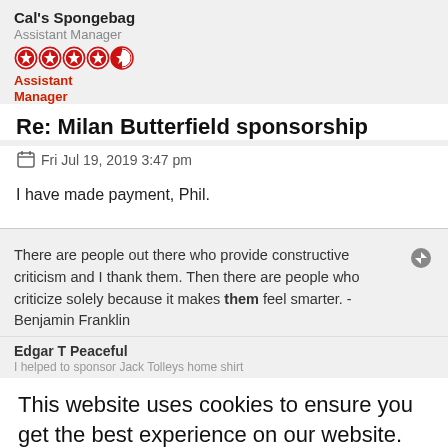Cal's Spongebag
Assistant Manager
[Figure (illustration): Five star rating icons (red and white circular badges), followed by red bold text 'Assistant Manager']
Re: Milan Butterfield sponsorship
Fri Jul 19, 2019 3:47 pm
I have made payment, Phil.
There are people out there who provide constructive criticism and I thank them. Then there are people who criticize solely because it makes them feel smarter. - Benjamin Franklin
Edgar T Peaceful
I helped to sponsor Jack Tolleys home shirt
This website uses cookies to ensure you get the best experience on our website. Learn more
Got it!